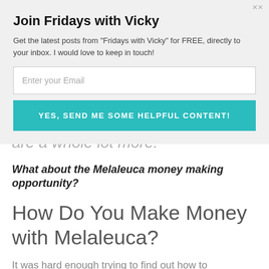Join Fridays with Vicky
Get the latest posts from "Fridays with Vicky" for FREE, directly to your inbox. I would love to keep in touch!
Enter your Email
YES, SEND ME SOME HELPFUL CONTENT!
are a whole lot more.
What about the Melaleuca money making opportunity?
How Do You Make Money with Melaleuca?
It was hard enough trying to find out how to